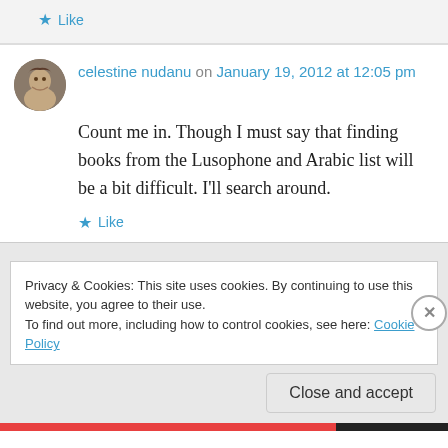★ Like
celestine nudanu on January 19, 2012 at 12:05 pm
Count me in. Though I must say that finding books from the Lusophone and Arabic list will be a bit difficult. I'll search around.
★ Like
Privacy & Cookies: This site uses cookies. By continuing to use this website, you agree to their use.
To find out more, including how to control cookies, see here: Cookie Policy
Close and accept